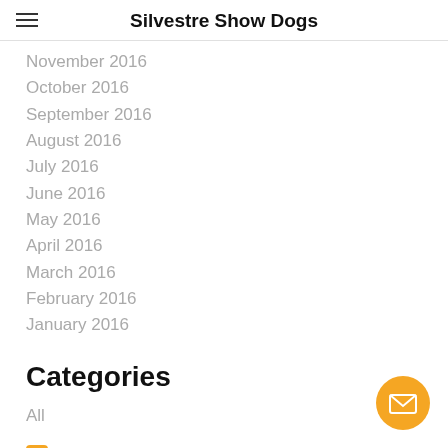Silvestre Show Dogs
November 2016
October 2016
September 2016
August 2016
July 2016
June 2016
May 2016
April 2016
March 2016
February 2016
January 2016
Categories
All
RSS Feed